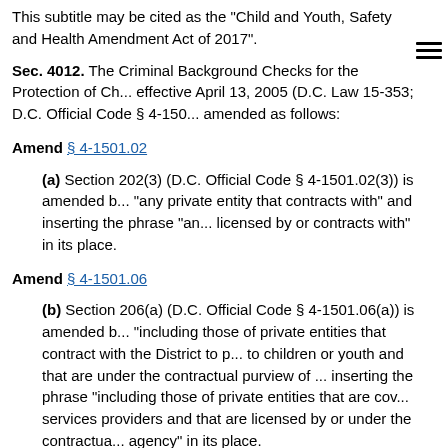This subtitle may be cited as the "Child and Youth, Safety and Health Amendment Act of 2017".
Sec. 4012. The Criminal Background Checks for the Protection of Ch... effective April 13, 2005 (D.C. Law 15-353; D.C. Official Code § 4-150... amended as follows:
Amend § 4-1501.02
(a) Section 202(3) (D.C. Official Code § 4-1501.02(3)) is amended b... "any private entity that contracts with" and inserting the phrase "an... licensed by or contracts with" in its place.
Amend § 4-1501.06
(b) Section 206(a) (D.C. Official Code § 4-1501.06(a)) is amended b... "including those of private entities that contract with the District to p... to children or youth and that are under the contractual purview of ... inserting the phrase "including those of private entities that are cov... services providers and that are licensed by or under the contractua... agency" in its place.